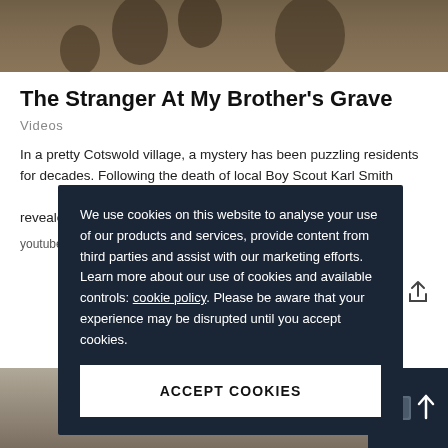[Figure (photo): Sepia-toned photograph strip showing people (partially visible at top of page)]
The Stranger At My Brother's Grave
Videos
In a pretty Cotswold village, a mystery has been puzzling residents for decades. Following the death of local Boy Scout Karl Smith in 1945, an unknown man appearing... Ann Kear's best... r been revealed.
youtube.c...
We use cookies on this website to analyse your use of our products and services, provide content from third parties and assist with our marketing efforts. Learn more about our use of cookies and available controls: cookie policy. Please be aware that your experience may be disrupted until you accept cookies.
ACCEPT COOKIES
[Figure (photo): Partially visible photograph at bottom of page, appears to be a landscape or outdoor scene]